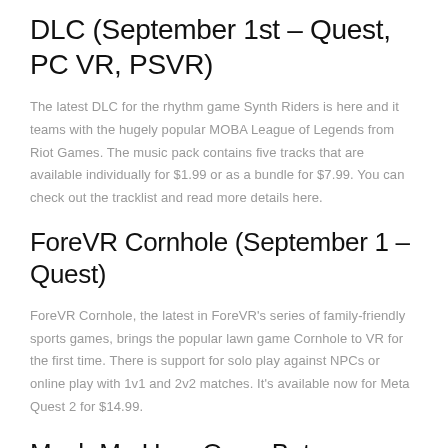DLC (September 1st – Quest, PC VR, PSVR)
The latest DLC for the rhythm game Synth Riders is here and it teams with the hugely popular MOBA League of Legends from Riot Games. The music pack contains five tracks that are available individually for $1.99 or as a bundle for $7.99. You can check out the tracklist and read more details here.
ForeVR Cornhole (September 1 – Quest)
ForeVR Cornhole, the latest in ForeVR's series of family-friendly sports games, brings the popular lawn game Cornhole to VR for the first time. There is support for solo play against NPCs or online play with 1v1 and 2v2 matches. It's available now for Meta Quest 2 for $14.99.
Mash Me Up – Open Beta